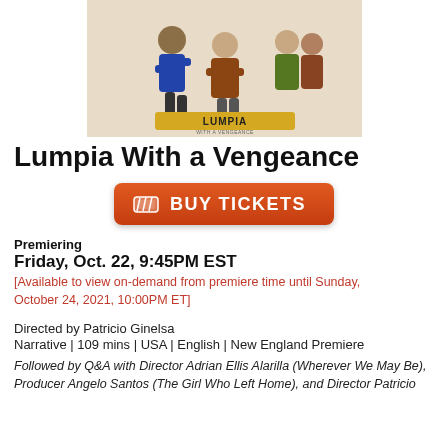[Figure (illustration): Movie poster for 'Lumpia With a Vengeance' showing comic-style characters on a cream/beige background with the film title at the bottom.]
Lumpia With a Vengeance
[Figure (other): Orange 'BUY TICKETS' button with ticket icon]
Premiering
Friday, Oct. 22, 9:45PM EST
[Available to view on-demand from premiere time until Sunday, October 24, 2021, 10:00PM ET]
Directed by Patricio Ginelsa
Narrative | 109 mins | USA | English | New England Premiere
Followed by Q&A with Director Adrian Ellis Alarilla (Wherever We May Be), Producer Angelo Santos (The Girl Who Left Home), and Director Patricio